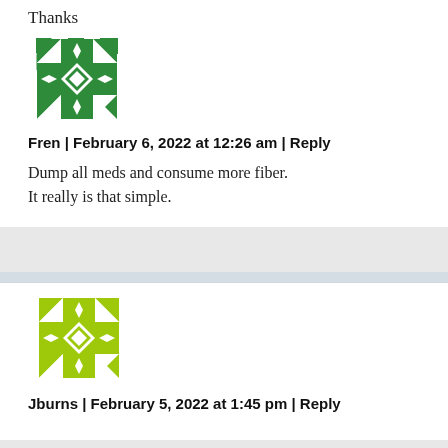Thanks
[Figure (illustration): Green geometric quilt-pattern avatar icon]
Fren | February 6, 2022 at 12:26 am | Reply
Dump all meds and consume more fiber. It really is that simple.
[Figure (illustration): Lime green geometric quilt-pattern avatar icon]
Jburns | February 5, 2022 at 1:45 pm | Reply